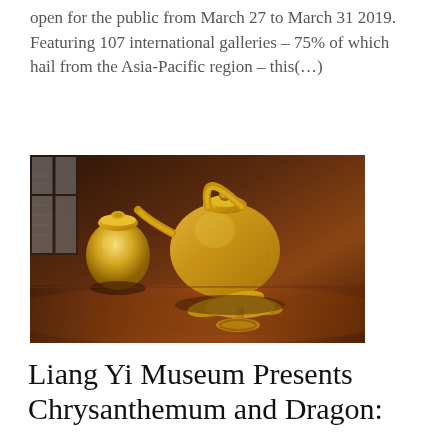open for the public from March 27 to March 31 2019. Featuring 107 international galleries – 75% of which hail from the Asia-Pacific region – this(…)
[Figure (photo): A photograph of gold-colored decorative objects on a dark wooden surface: a textured gold teapot/kettle with a handle and a lotus-flower base stand, and a round gold container, with a dark window visible in the background.]
Liang Yi Museum Presents Chrysanthemum and Dragon: